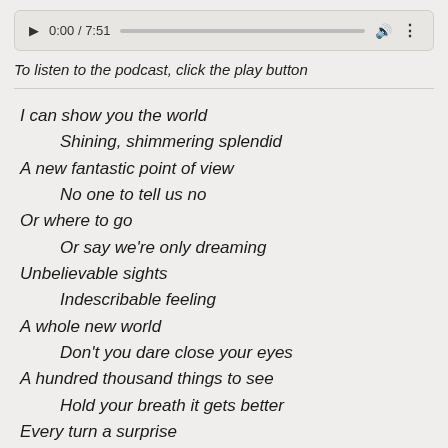[Figure (other): Audio player widget showing play button, timestamp 0:00 / 7:51, progress bar, volume icon, and more options icon]
To listen to the podcast, click the play button
I can show you the world
    Shining, shimmering splendid
A new fantastic point of view
    No one to tell us no
Or where to go
    Or say we're only dreaming
Unbelievable sights
    Indescribable feeling
A whole new world
    Don't you dare close your eyes
A hundred thousand things to see
    Hold your breath it gets better
Every turn a surprise